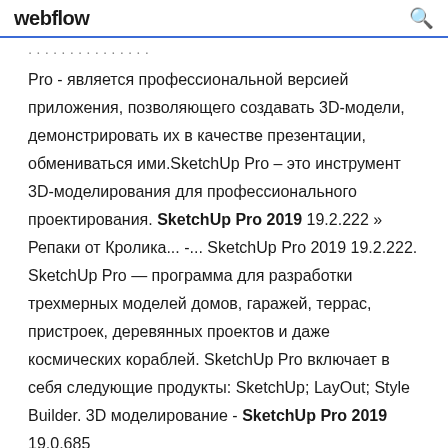webflow
Pro - является профессиональной версией приложения, позволяющего создавать 3D-модели, демонстрировать их в качестве презентации, обмениваться ими.SketchUp Pro – это инструмент 3D-моделирования для профессионального проектирования. SketchUp Pro 2019 19.2.222 » Репаки от Кролика... -... SketchUp Pro 2019 19.2.222. SketchUp Pro — программа для разработки трехмерных моделей домов, гаражей, террас, пристроек, деревянных проектов и даже космических кораблей. SketchUp Pro включает в себя следующие продукты: SketchUp; LayOut; Style Builder. 3D моделирование - SketchUp Pro 2019 19.0.685